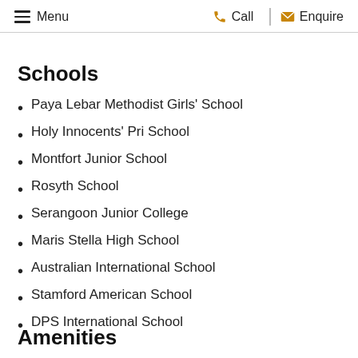Menu | Call | Enquire
Schools
Paya Lebar Methodist Girls' School
Holy Innocents' Pri School
Montfort Junior School
Rosyth School
Serangoon Junior College
Maris Stella High School
Australian International School
Stamford American School
DPS International School
Amenities